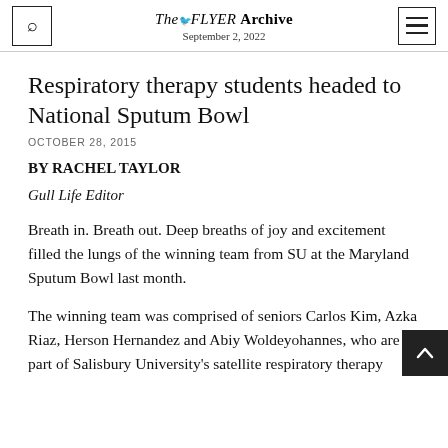TheFLYER Archive
September 2, 2022
Respiratory therapy students headed to National Sputum Bowl
OCTOBER 28, 2015
BY RACHEL TAYLOR
Gull Life Editor
Breath in. Breath out. Deep breaths of joy and excitement filled the lungs of the winning team from SU at the Maryland Sputum Bowl last month.
The winning team was comprised of seniors Carlos Kim, Azka Riaz, Herson Hernandez and Abiy Woldeyohannes, who are a part of Salisbury University's satellite respiratory therapy…